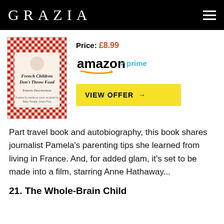GRAZIA
[Figure (photo): Book cover of 'French Children Don't Throw Food' by Pamela Druckerman, with red and white checkered pattern background]
Price: £8.99
[Figure (logo): Amazon Prime logo with orange swoosh and blue prime text]
VIEW OFFER →
Part travel book and autobiography, this book shares journalist Pamela's parenting tips she learned from living in France. And, for added glam, it's set to be made into a film, starring Anne Hathaway...
21. The Whole-Brain Child